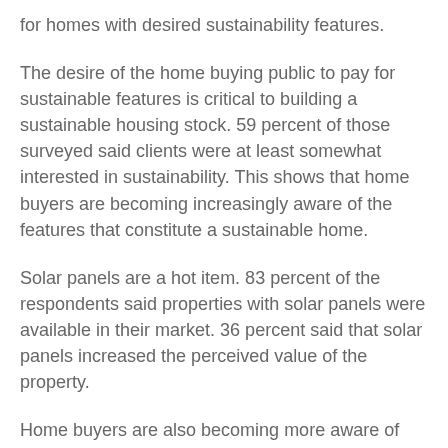for homes with desired sustainability features.
The desire of the home buying public to pay for sustainable features is critical to building a sustainable housing stock. 59 percent of those surveyed said clients were at least somewhat interested in sustainability. This shows that home buyers are becoming increasingly aware of the features that constitute a sustainable home.
Solar panels are a hot item. 83 percent of the respondents said properties with solar panels were available in their market. 36 percent said that solar panels increased the perceived value of the property.
Home buyers are also becoming more aware of what it means to have a "high performing" home. Sixteen percent of respondents said that a "high performance" home